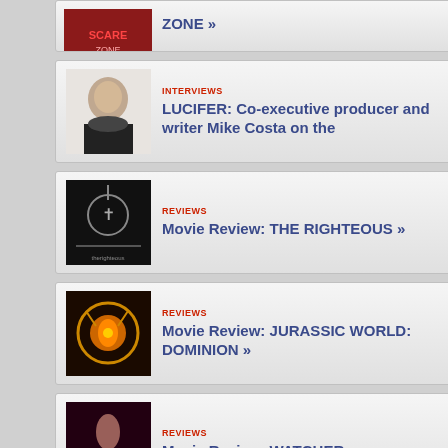ZONE »
INTERVIEWS — LUCIFER: Co-executive producer and writer Mike Costa on the
REVIEWS — Movie Review: THE RIGHTEOUS »
REVIEWS — Movie Review: JURASSIC WORLD: DOMINION »
REVIEWS — Movie Review: WATCHER »
News | Reviews | Movies | Televi… American Idol | Buffy the Vampire Slayer | The Avenge…